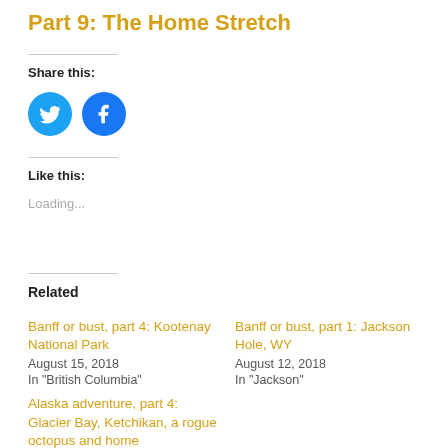Part 9: The Home Stretch
Share this:
[Figure (illustration): Twitter bird icon in blue circle and Facebook 'f' icon in blue circle, social sharing buttons]
Like this:
Loading...
Related
Banff or bust, part 4: Kootenay National Park
August 15, 2018
In "British Columbia"
Banff or bust, part 1: Jackson Hole, WY
August 12, 2018
In "Jackson"
Alaska adventure, part 4: Glacier Bay, Ketchikan, a rogue octopus and home